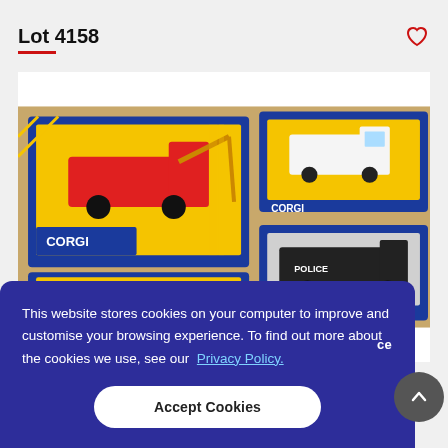Lot 4158
[Figure (photo): Several Corgi die-cast toy cars in blue and yellow branded boxes, arranged in a cardboard box. Visible models include a red tow truck, a white ambulance van, and a black police van, all in Corgi branded packaging.]
This website stores cookies on your computer to improve and customise your browsing experience. To find out more about the cookies we use, see our Privacy Policy.